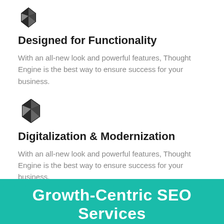[Figure (illustration): Black geometric diamond/icosahedron icon, small, at top of page]
Designed for Functionality
With an all-new look and powerful features, Thought Engine is the best way to ensure success for your business.
[Figure (illustration): Black geometric diamond/icosahedron icon, medium, second section]
Digitalization & Modernization
With an all-new look and powerful features, Thought Engine is the best way to ensure success for your business.
Growth-Centric SEO Services